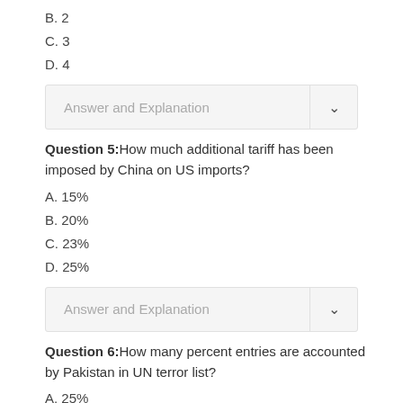B. 2
C. 3
D. 4
Answer and Explanation
Question 5: How much additional tariff has been imposed by China on US imports?
A. 15%
B. 20%
C. 23%
D. 25%
Answer and Explanation
Question 6: How many percent entries are accounted by Pakistan in UN terror list?
A. 25%